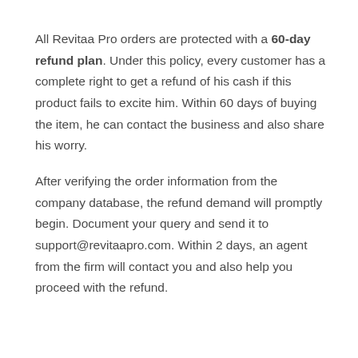All Revitaa Pro orders are protected with a 60-day refund plan. Under this policy, every customer has a complete right to get a refund of his cash if this product fails to excite him. Within 60 days of buying the item, he can contact the business and also share his worry.
After verifying the order information from the company database, the refund demand will promptly begin. Document your query and send it to support@revitaapro.com. Within 2 days, an agent from the firm will contact you and also help you proceed with the refund.